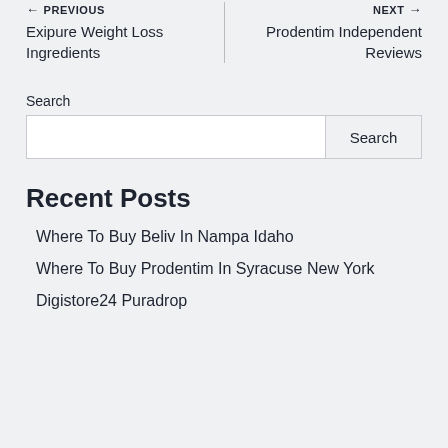← PREVIOUS
Exipure Weight Loss Ingredients
NEXT →
Prodentim Independent Reviews
Search
Search
Recent Posts
Where To Buy Beliv In Nampa Idaho
Where To Buy Prodentim In Syracuse New York
Digistore24 Puradrop